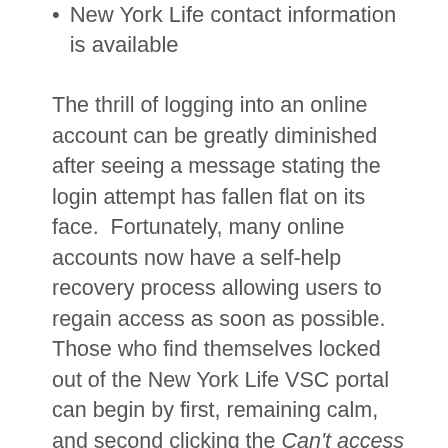New York Life contact information is available
The thrill of logging into an online account can be greatly diminished after seeing a message stating the login attempt has fallen flat on its face.  Fortunately, many online accounts now have a self-help recovery process allowing users to regain access as soon as possible.  Those who find themselves locked out of the New York Life VSC portal can begin by first, remaining calm, and second clicking the Can't access your account? link located beneath the login fields.  After clicking the link the account recovery process can be initiated by entering a policy number, last name, date of birth, and last 4 digits of the account holder's Social Security Number before clicking the Next button to proceed.  The Cancel button can be clicked at anytime to back of the account recovery